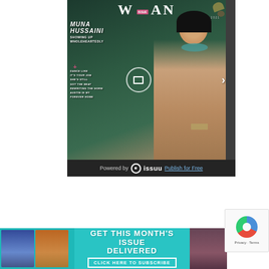[Figure (screenshot): Issuu magazine viewer showing WAN magazine cover featuring Muna Hussaini with text 'SHOWING UP WHOLEHEARTEDLY' and cover lines: DANCE LIKE IT'S YOUR JOB, SHE'S STILL GOT THE BEAT, REWRITING THE NORM, AUSTIN IS MY FOREVER HOME. Navigation arrow on right. Zoom icon overlay in center.]
Powered by  issuu  Publish for Free
[Figure (infographic): Teal promotional banner reading GET THIS MONTH'S ISSUE DELIVERED with CLICK HERE TO SUBSCRIBE button, flanked by magazine cover photos on left and right]
[Figure (other): reCAPTCHA widget showing Privacy - Terms]